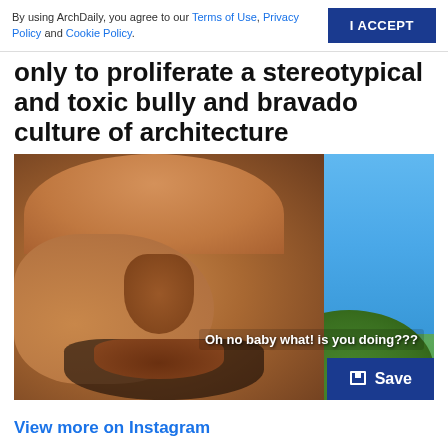By using ArchDaily, you agree to our Terms of Use, Privacy Policy and Cookie Policy.
only to proliferate a stereotypical and toxic bully and bravado culture of architecture
[Figure (photo): A close-up photo of a Black man with a skeptical or disapproving expression, set against a blue sky with trees in the background. White text overlaid reads: 'Oh no baby what! is you doing???'. A blue 'Save' button appears in the bottom right corner of the image.]
View more on Instagram